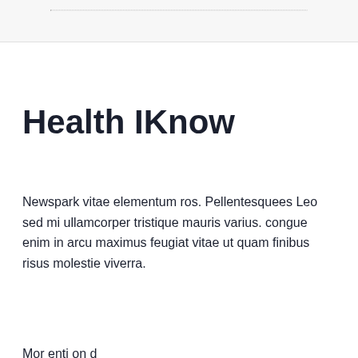Health IKnow
Newspark vitae elementum ros. Pellentesquees Leo sed mi ullamcorper tristique mauris varius. congue enim in arcu maximus feugiat vitae ut quam finibus risus molestie viverra.